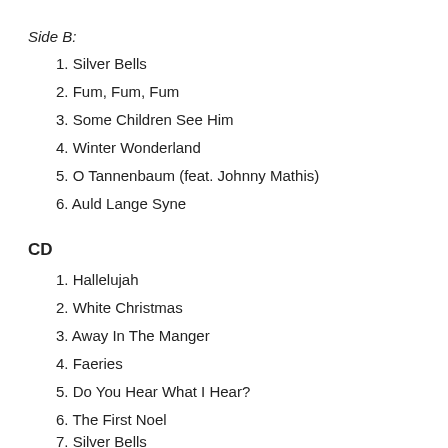Side B:
1. Silver Bells
2. Fum, Fum, Fum
3. Some Children See Him
4. Winter Wonderland
5. O Tannenbaum (feat. Johnny Mathis)
6. Auld Lange Syne
CD
1. Hallelujah
2. White Christmas
3. Away In The Manger
4. Faeries
5. Do You Hear What I Hear?
6. The First Noel
7. Silver Bells